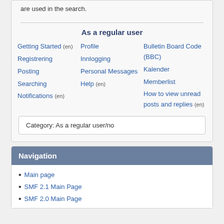are used in the search.
As a regular user
Getting Started (en)  Profile  Bulletin Board Code (BBC)
Registrering  Innlogging  Kalender
Posting  Personal Messages  Memberlist
Searching  Help (en)  How to view unread posts and replies (en)
Notifications (en)
Category:  As a regular user/no
Navigation
Main page
SMF 2.1 Main Page
SMF 2.0 Main Page